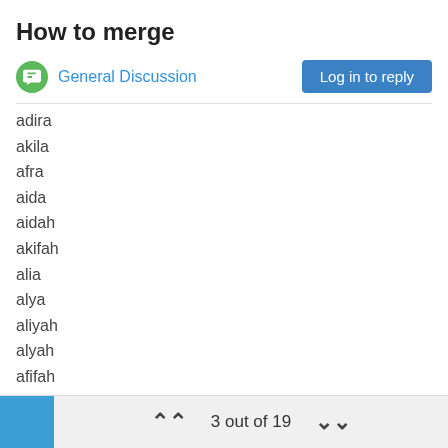How to merge
General Discussion  Log in to reply
adira
akila
afra
aida
aidah
akifah
alia
alya
aliyah
alyah
afifah
aisha
aisya
aminah
amirah
amel
3 out of 19